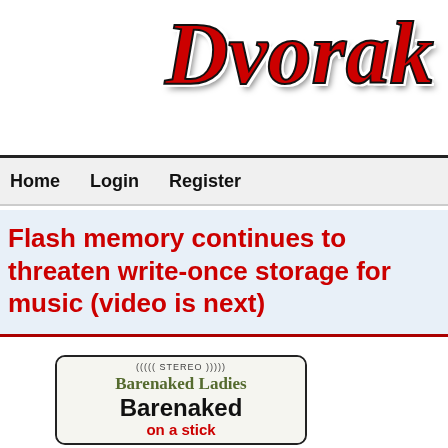Dvorak U
Home   Login   Register
Flash memory continues to threaten write-once storage for music (video is next)
[Figure (photo): Album cover image for Barenaked Ladies 'Barenaked on a stick' showing the band name and album title on a light background with stereo symbol at top]